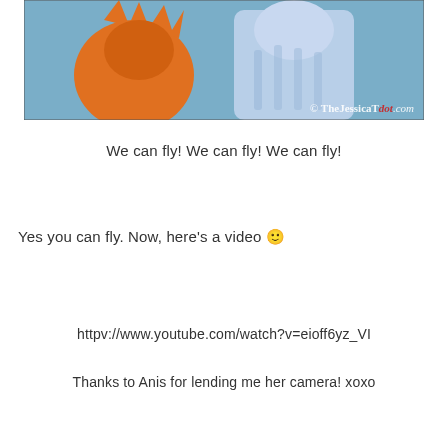[Figure (photo): Two costumed characters on stage – one in an orange bird/feathered costume on the left, and one in a light blue costume on the right, against a blue background. Watermark reads: © TheJessicaTdot.com]
We can fly! We can fly! We can fly!
Yes you can fly. Now, here's a video 🙂
httpv://www.youtube.com/watch?v=eioff6yz_VI
Thanks to Anis for lending me her camera! xoxo